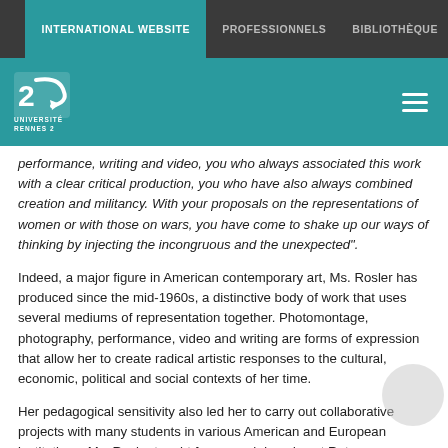INTERNATIONAL WEBSITE | PROFESSIONNELS | BIBLIOTHÈQUE
[Figure (logo): Université Rennes 2 logo — white stylized '2' on teal background with text UNIVERSITÉ RENNES 2]
performance, writing and video, you who always associated this work with a clear critical production, you who have also always combined creation and militancy. With your proposals on the representations of women or with those on wars, you have come to shake up our ways of thinking by injecting the incongruous and the unexpected".
Indeed, a major figure in American contemporary art, Ms. Rosler has produced since the mid-1960s, a distinctive body of work that uses several mediums of representation together. Photomontage, photography, performance, video and writing are forms of expression that allow her to create radical artistic responses to the cultural, economic, political and social contexts of her time.
Her pedagogical sensitivity also led her to carry out collaborative projects with many students in various American and European institutions. Ms. Rosler taught for several decades at Rutgers University in New Brunswick, New Jersey, and then at the